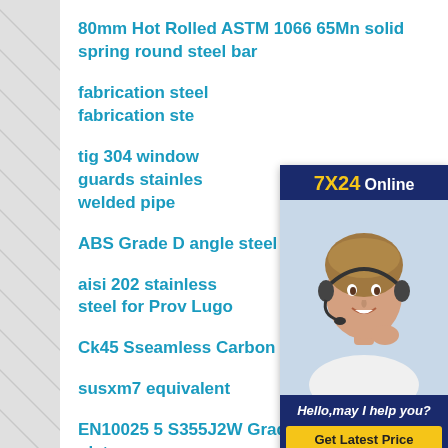80mm Hot Rolled ASTM 1066 65Mn solid spring round steel bar
fabrication steel fabrication ste...
tig 304 window guards stainles... welded pipe
ABS Grade D angle steel
aisi 202 stainless steel for Prov... Lugo
Ck45 Sseamless Carbon Steel Tube
susxm7 equivalent
EN10025 5 S355J2W Grade S355J2W steel plate
[Figure (infographic): 7X24 Online customer service chat widget with photo of woman with headset, text 'Hello,may I help you?' and 'Get Latest Price' button]